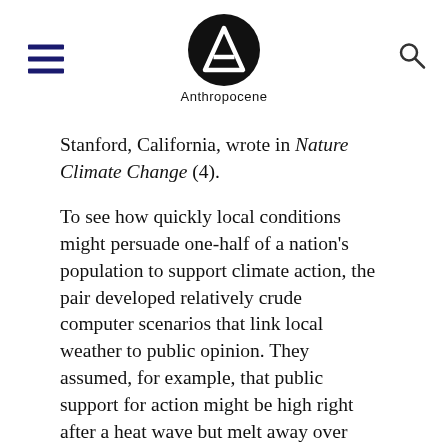Anthropocene
Stanford, California, wrote in Nature Climate Change (4).
To see how quickly local conditions might persuade one-half of a nation's population to support climate action, the pair developed relatively crude computer scenarios that link local weather to public opinion. They assumed, for example, that public support for action might be high right after a heat wave but melt away over time.